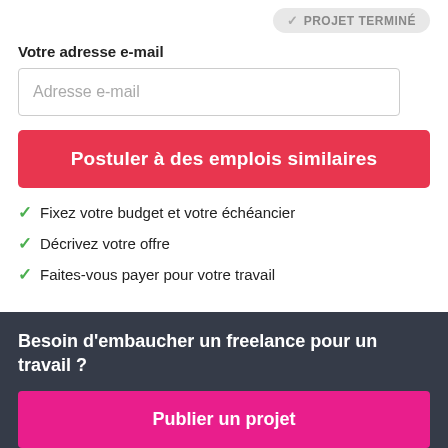[Figure (screenshot): Badge pill button showing '✓ PROJET TERMINÉ' in grey]
Votre adresse e-mail
Adresse e-mail
Postuler à des emplois similaires
Fixez votre budget et votre échéancier
Décrivez votre offre
Faites-vous payer pour votre travail
Besoin d'embaucher un freelance pour un travail ?
Publier un projet